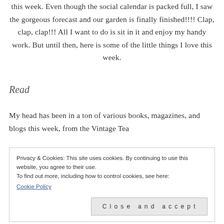this week. Even though the social calendar is packed full, I saw the gorgeous forecast and our garden is finally finished!!!! Clap, clap, clap!!! All I want to do is sit in it and enjoy my handy work. But until then, here is some of the little things I love this week.
Read
My head has been in a ton of various books, magazines, and blogs this week, from the Vintage Tea
Privacy & Cookies: This site uses cookies. By continuing to use this website, you agree to their use.
To find out more, including how to control cookies, see here:
Cookie Policy
Close and accept